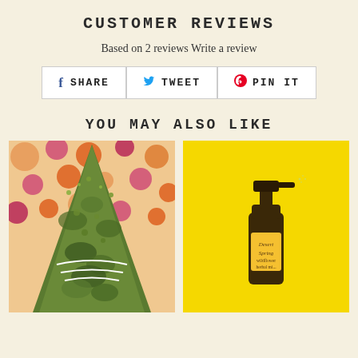CUSTOMER REVIEWS
Based on 2 reviews Write a review
f SHARE   TWEET   PIN IT
YOU MAY ALSO LIKE
[Figure (photo): Bundle of dried green herbs tied with white string on a colorful floral fabric background]
[Figure (photo): Desert Spring wildflower herbal mist spray bottle on a bright yellow background]